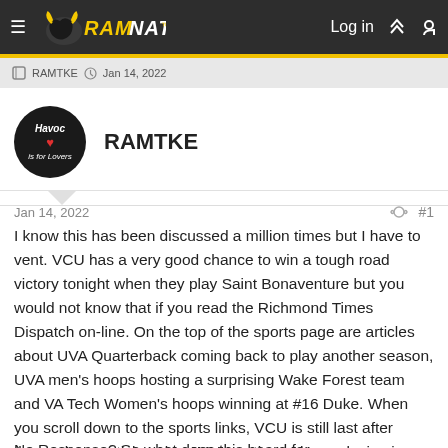RAM NATION — Log in
RAMTKE  Jan 14, 2022
RAMTKE
Jan 14, 2022  #1
I know this has been discussed a million times but I have to vent. VCU has a very good chance to win a tough road victory tonight when they play Saint Bonaventure but you would not know that if you read the Richmond Times Dispatch on-line. On the top of the sports page are articles about UVA Quarterback coming back to play another season, UVA men's hoops hosting a surprising Wake Forest team and VA Tech Women's hoops winning at #16 Duke. When you scroll down to the sports links, VCU is still last after those above articles plus JMU wanting to keep playing in-state rivals in hoops and the record setting UR basketball against (wait for it) Fordham!!!
No Response? So what does this board for…hi information…